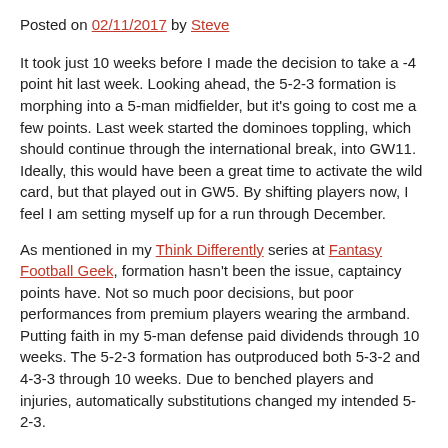Posted on 02/11/2017 by Steve
It took just 10 weeks before I made the decision to take a -4 point hit last week. Looking ahead, the 5-2-3 formation is morphing into a 5-man midfielder, but it's going to cost me a few points. Last week started the dominoes toppling, which should continue through the international break, into GW11. Ideally, this would have been a great time to activate the wild card, but that played out in GW5. By shifting players now, I feel I am setting myself up for a run through December.
As mentioned in my Think Differently series at Fantasy Football Geek, formation hasn't been the issue, captaincy points have. Not so much poor decisions, but poor performances from premium players wearing the armband. Putting faith in my 5-man defense paid dividends through 10 weeks. The 5-2-3 formation has outproduced both 5-3-2 and 4-3-3 through 10 weeks. Due to benched players and injuries, automatically substitutions changed my intended 5-2-3.
Last week I lost faith in Ben Davies, transferring him for Stephen Ward. Burnley has a favorable schedule through GW16. While Spurs are solid through GW17, there is some risk of rotation, thus Davies was move, which helped free up my budget. The -4 hit came in the name of Richarlison, for Jack Cork. Unfortunately a 1 point return didn't bode well but finished 4 points better than if I would have held the transfer.